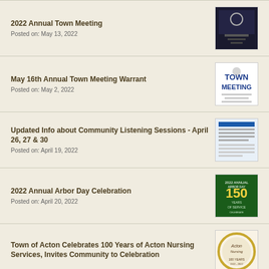2022 Annual Town Meeting
Posted on: May 13, 2022
May 16th Annual Town Meeting Warrant
Posted on: May 2, 2022
Updated Info about Community Listening Sessions - April 26, 27 & 30
Posted on: April 19, 2022
2022 Annual Arbor Day Celebration
Posted on: April 20, 2022
Town of Acton Celebrates 100 Years of Acton Nursing Services, Invites Community to Celebration